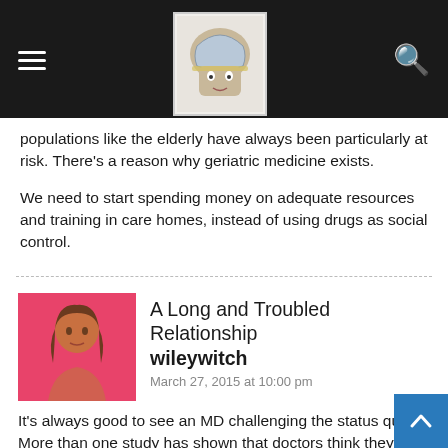Navigation bar with hamburger menu, brain logo, and search icon
populations like the elderly have always been particularly at risk. There's a reason why geriatric medicine exists.
We need to start spending money on adequate resources and training in care homes, instead of using drugs as social control.
A Long and Troubled Relationship
wileywitch
March 27, 2015 at 10:00 pm
It's always good to see an MD challenging the status quo. More than one study has shown that doctors think they aren't influenced by advertising (but others are) though their prescribing habits say differently. Even just using a pen with the drug's name on it increases the number of prescriptions they write for that drug.